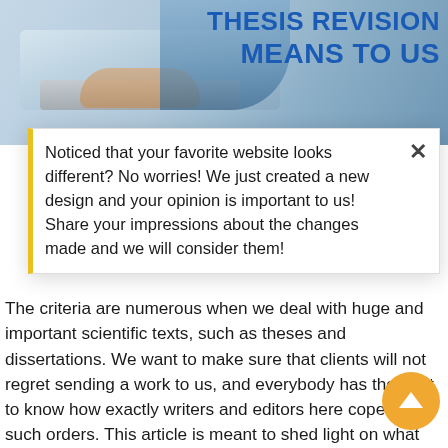[Figure (photo): Top banner image showing a person at a laptop with text overlay 'THESIS REVISION MEANS TO US' in bold blue uppercase letters]
Noticed that your favorite website looks different? No worries! We just created a new design and your opinion is important to us! Share your impressions about the changes made and we will consider them!
The criteria are numerous when we deal with huge and important scientific texts, such as theses and dissertations. We want to make sure that clients will not regret sending a work to us, and everybody has the right to know how exactly writers and editors here cope with such orders. This article is meant to shed light on what quality thesis revision means to our academia research writers. After reading this post, you will not risk buying a pig in a poke anymore because here we share the main principles of rendering high-class services.